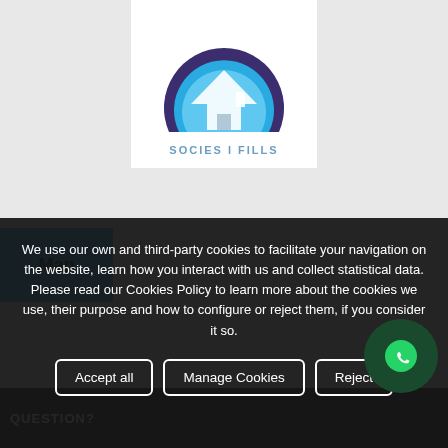[Figure (logo): Logo with a house silhouette inside a semicircle with blue and purple gradient colors. Text below reads SOCIES I FILLS.]
Map
We use our own and third-party cookies to facilitate your navigation on the website, learn how you interact with us and collect statistical data. Please read our Cookies Policy to learn more about the cookies we use, their purpose and how to configure or reject them, if you consider it so.
Accept all
Manage Cookies
Reject
QUESTION?